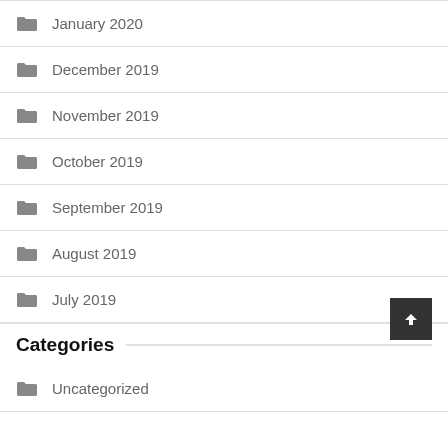January 2020
December 2019
November 2019
October 2019
September 2019
August 2019
July 2019
Categories
Uncategorized